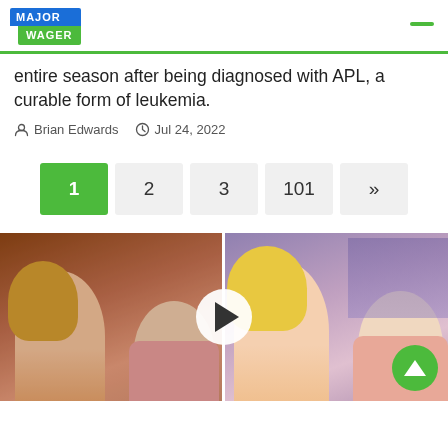MAJOR WAGER
entire season after being diagnosed with APL, a curable form of leukemia.
Brian Edwards  Jul 24, 2022
1 2 3 101 »
[Figure (photo): Composite photo split in two halves: left side shows a smiling blonde woman and a man in a pink jacket in a darker indoor setting; right side shows the same or similar pair in a lighter indoor setting. A video play button overlay appears in the center.]